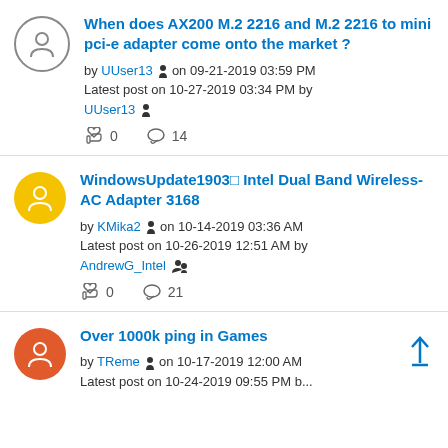When does AX200 M.2 2216 and M.2 2216 to mini pci-e adapter come onto the market ? by UUser13 on 09-21-2019 03:59 PM Latest post on 10-27-2019 03:34 PM by UUser13 | 0 likes | 14 replies
WindowsUpdate1903□ Intel Dual Band Wireless-AC Adapter 3168 by KMika2 on 10-14-2019 03:36 AM Latest post on 10-26-2019 12:51 AM by AndrewG_Intel | 0 likes | 21 replies
Over 1000k ping in Games by TReme on 10-17-2019 12:00 AM Latest post on 10-24-2019 09:55 PM by...